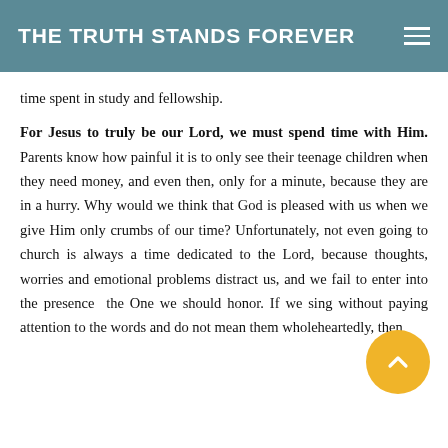THE TRUTH STANDS FOREVER
time spent in study and fellowship.
For Jesus to truly be our Lord, we must spend time with Him. Parents know how painful it is to only see their teenage children when they need money, and even then, only for a minute, because they are in a hurry. Why would we think that God is pleased with us when we give Him only crumbs of our time? Unfortunately, not even going to church is always a time dedicated to the Lord, because thoughts, worries and emotional problems distract us, and we fail to enter into the presence of the One we should honor. If we sing without paying attention to the words and do not mean them wholeheartedly, then